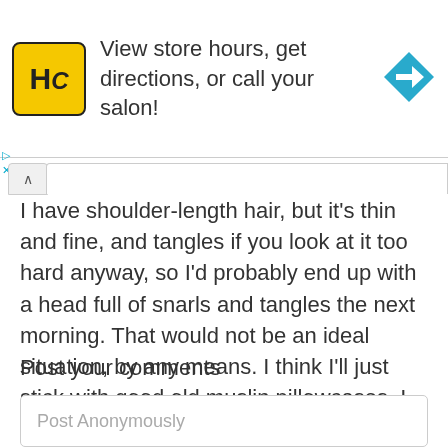[Figure (other): Advertisement banner for HC salon with logo, text 'View store hours, get directions, or call your salon!' and a blue direction arrow icon]
I have shoulder-length hair, but it's thin and fine, and tangles if you look at it too hard anyway, so I'd probably end up with a head full of snarls and tangles the next morning. That would not be an ideal situation, by any means. I think I'll just stick with good old muslin pillowcases. I can sleep well on those.
Post your comments
Post Anonymously